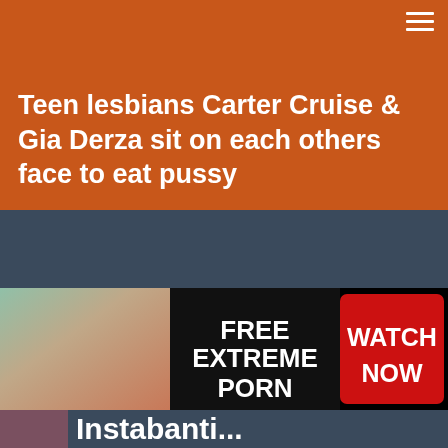Teen lesbians Carter Cruise & Gia Derza sit on each others face to eat pussy
[Figure (infographic): Adult advertisement banner with image on left, 'FREE EXTREME PORN' text in center, and 'WATCH NOW' red button on right]
Instaclanti...